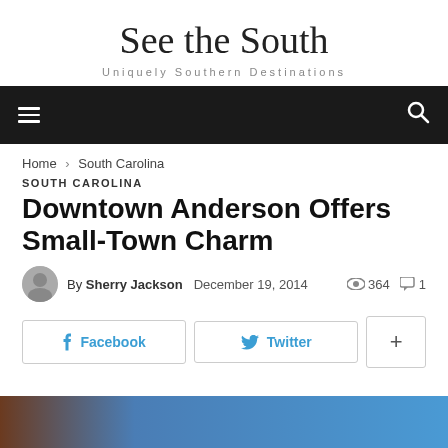See the South
Uniquely Southern Destinations
[Figure (screenshot): Dark navigation bar with hamburger menu icon on left and search icon on right]
Home › South Carolina
SOUTH CAROLINA
Downtown Anderson Offers Small-Town Charm
By Sherry Jackson   December 19, 2014   364 views   1 comment
[Figure (infographic): Social share buttons: Facebook, Twitter, and plus button]
[Figure (photo): Bottom portion of an article photo showing brown and blue colors]